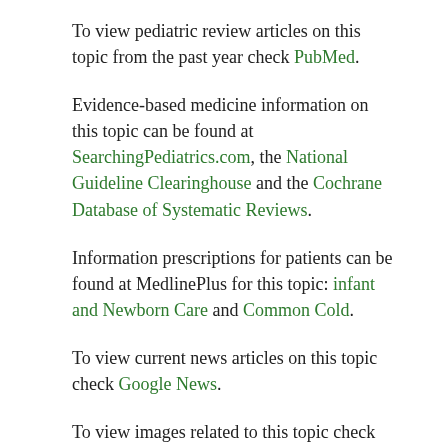To view pediatric review articles on this topic from the past year check PubMed.
Evidence-based medicine information on this topic can be found at SearchingPediatrics.com, the National Guideline Clearinghouse and the Cochrane Database of Systematic Reviews.
Information prescriptions for patients can be found at MedlinePlus for this topic: infant and Newborn Care and Common Cold.
To view current news articles on this topic check Google News.
To view images related to this topic check Google Images.